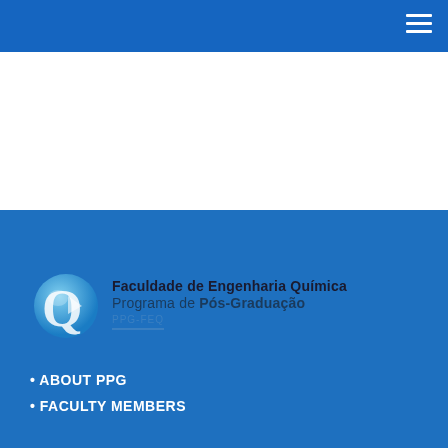Navigation menu header bar
[Figure (logo): PPG-FEQ logo with circular Q icon and text: Faculdade de Engenharia Química / Programa de Pós-Graduação / PPG-FEQ]
• ABOUT PPG
• FACULTY MEMBERS